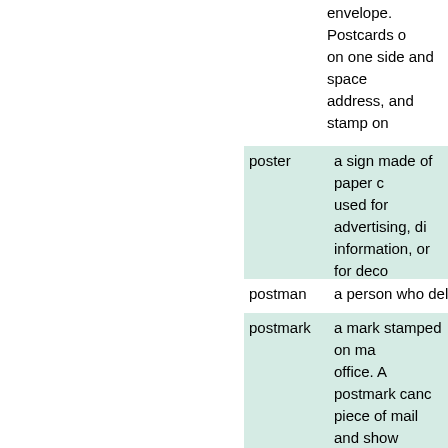envelope. Postcards on one side and space address, and stamp on
poster — a sign made of paper used for advertising, di information, or for deco
postman — a person who delivers
postmark — a mark stamped on ma office. A postmark cano piece of mail and show place of mailing. [2 def
postmaster — the person in charge o
post office — a department or branch responsible for handlin mail. [2 definitions]
postpone — to put off until later.
postscript — a note or message add letter following the writ
posture — the general position of